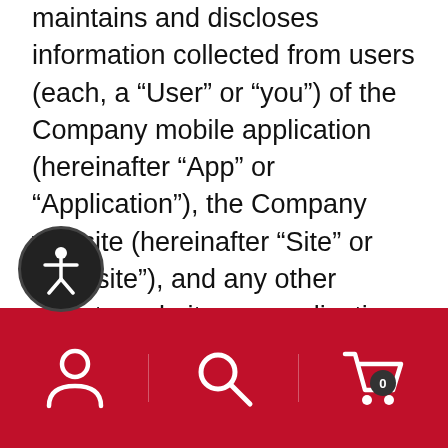maintains and discloses information collected from users (each, a “User” or “you”) of the Company mobile application (hereinafter “App” or “Application”), the Company website (hereinafter “Site” or “Website”), and any other affiliate websites or applications related to the Company (together, collectively the “Service”).  By accessing the Service, you acknowledge and agree to this Privacy Policy and also agree to the Terms of Service of the Service.  We reserve the right to make any changes to our privacy policy at any time, notice of which may be posted on the Website.  In some cases, we also may send an email notifying users of the changes.  You should check this website periodically to see if any recent changes to this Privacy Policy have
[Figure (other): Accessibility button (circular icon with person/figure symbol)]
[Figure (other): Red bottom navigation bar with user account icon, search icon, and shopping cart icon with badge showing 0]